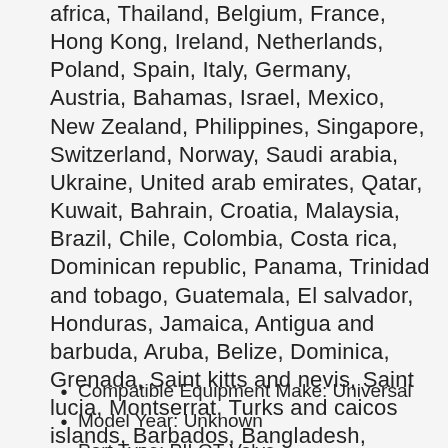africa, Thailand, Belgium, France, Hong Kong, Ireland, Netherlands, Poland, Spain, Italy, Germany, Austria, Bahamas, Israel, Mexico, New Zealand, Philippines, Singapore, Switzerland, Norway, Saudi arabia, Ukraine, United arab emirates, Qatar, Kuwait, Bahrain, Croatia, Malaysia, Brazil, Chile, Colombia, Costa rica, Dominican republic, Panama, Trinidad and tobago, Guatemala, El salvador, Honduras, Jamaica, Antigua and barbuda, Aruba, Belize, Dominica, Grenada, Saint kitts and nevis, Saint lucia, Montserrat, Turks and caicos islands, Barbados, Bangladesh, Bermuda, Brunei darussalam, Bolivia, Ecuador, Egypt, French guiana, Guernsey, Gibraltar, Guadeloupe, Iceland, Jersey, Jordan, Cambodia, Cayman islands, Liechtenstein, Sri lanka, Luxembourg, Monaco, Macao, Martinique, Maldives, Nicaragua, Oman, Peru, Pakistan, Paraguay, Reunion, Viet nam, Uruguay, Russian federation.
Compatible Equipment Make: Universal
Model Year: Unknown
Part Type: PILOT Valve